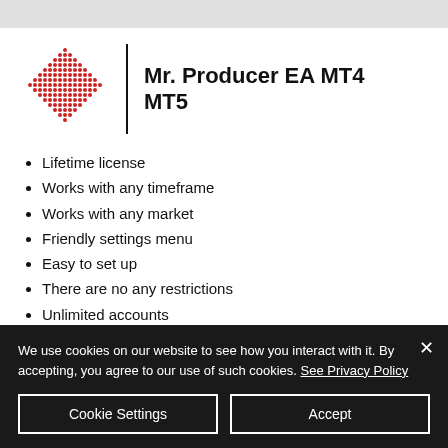[Figure (logo): Red diamond-shaped dotted logo for Mr. Producer EA]
Mr. Producer EA MT4 MT5
Lifetime license
Works with any timeframe
Works with any market
Friendly settings menu
Easy to set up
There are no any restrictions
Unlimited accounts
Updates available
Support 24/7
We use cookies on our website to see how you interact with it. By accepting, you agree to our use of such cookies. See Privacy Policy
Cookie Settings | Accept